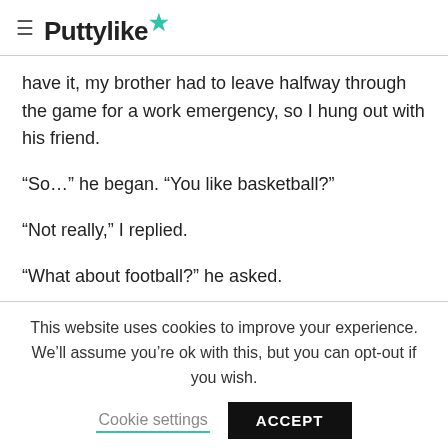≡ Puttylike
have it, my brother had to leave halfway through the game for a work emergency, so I hung out with his friend.
“So…” he began. “You like basketball?”
“Not really,” I replied.
“What about football?” he asked.
This website uses cookies to improve your experience. We’ll assume you’re ok with this, but you can opt-out if you wish.
Cookie settings  ACCEPT